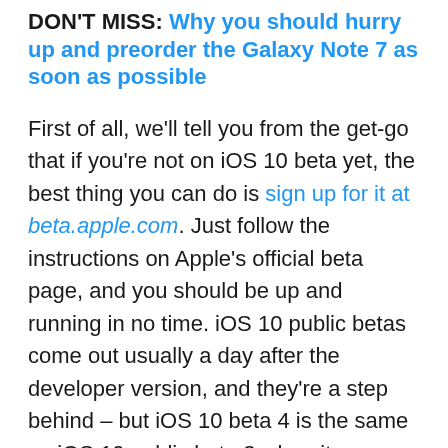DON'T MISS: Why you should hurry up and preorder the Galaxy Note 7 as soon as possible
First of all, we'll tell you from the get-go that if you're not on iOS 10 beta yet, the best thing you can do is sign up for it at beta.apple.com. Just follow the instructions on Apple's official beta page, and you should be up and running in no time. iOS 10 public betas come out usually a day after the developer version, and they're a step behind – but iOS 10 beta 4 is the same as iOS 10 public beta 3 when it comes to features.